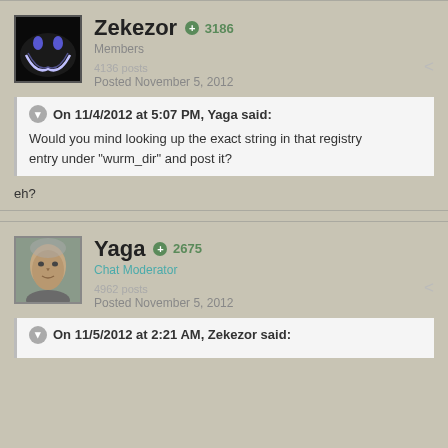Zekezor +3186 Members 4136 posts Posted November 5, 2012
On 11/4/2012 at 5:07 PM, Yaga said: Would you mind looking up the exact string in that registry entry under "wurm_dir" and post it?
eh?
Yaga +2675 Chat Moderator 4962 posts Posted November 5, 2012
On 11/5/2012 at 2:21 AM, Zekezor said: